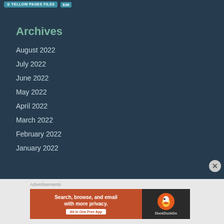YELLOW PAGES FILES
Archives
August 2022
July 2022
June 2022
May 2022
April 2022
March 2022
February 2022
January 2022
Advertisements
[Figure (screenshot): DuckDuckGo advertisement banner: orange left panel with text 'Search, browse, and email with more privacy. All in One Free App', black right panel with DuckDuckGo duck logo]